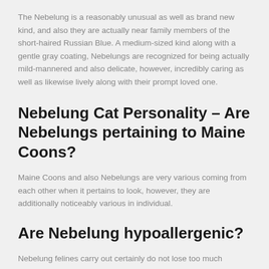The Nebelung is a reasonably unusual as well as brand new kind, and also they are actually near family members of the short-haired Russian Blue. A medium-sized kind along with a gentle gray coating, Nebelungs are recognized for being actually mild-mannered and also delicate, however, incredibly caring as well as likewise lively along with their prompt loved one.
Nebelung Cat Personality – Are Nebelungs pertaining to Maine Coons?
Maine Coons and also Nebelungs are very various coming from each other when it pertains to look, however, they are additionally noticeably various in individual.
Are Nebelung hypoallergenic?
Nebelung felines carry out certainly do not lose too much